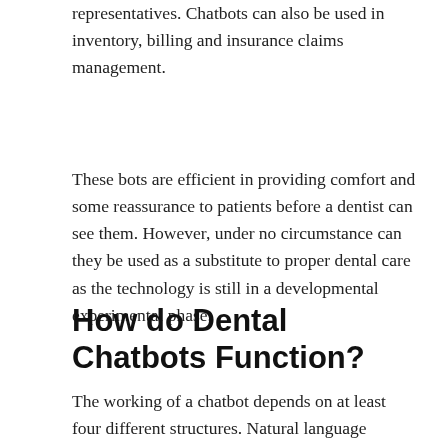representatives. Chatbots can also be used in inventory, billing and insurance claims management.
These bots are efficient in providing comfort and some reassurance to patients before a dentist can see them. However, under no circumstance can they be used as a substitute to proper dental care as the technology is still in a developmental experimental phase.
How do Dental Chatbots Function?
The working of a chatbot depends on at least four different structures. Natural language processing is responsible to understand user demands while